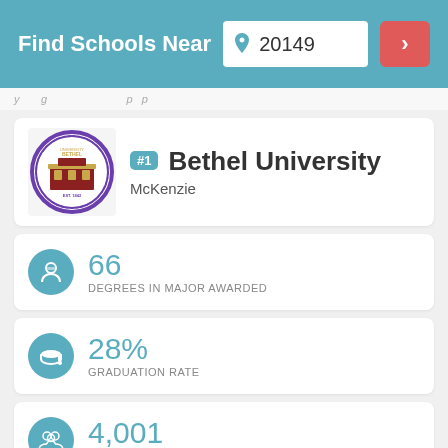Find Schools Near 20149
Bethel University — McKenzie — #1
66 DEGREES IN MAJOR AWARDED
28% GRADUATION RATE
4,001 TOTAL STUDENTS